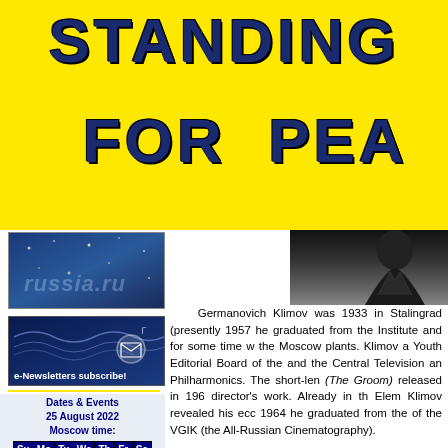STANDING FOR PEA
[Figure (illustration): Russia-themed decorative image with blue background and star patterns]
[Figure (illustration): e-Newsletters subscribe banner with dark blue background and envelope icon]
Dates & Events
25 August 2022
Moscow time:
| Su | Mo | Tu | We | Th | Fr | Sa |
| --- | --- | --- | --- | --- | --- | --- |
| 7 | 8 | 9 | 10 | 11 | 12 | 13 |
| 14 | 15 | 16 | 17 | 18 | 19 | 20 |
| 21 | 22 | 23 | 24 | 25 | 26 | 27 |
[Figure (photo): Black and white portrait photo of Elem Klimov]
Germanovich Klimov was 1933 in Stalingrad (presently 1957 he graduated from the Institute and for some time w the Moscow plants. Klimov a Youth Editorial Board of the and the Central Television an Philharmonics. The short-len (The Groom) released in 196 director's work. Already in th Elem Klimov revealed his ecc 1964 he graduated from the of the VGIK (the All-Russian Cinematography).